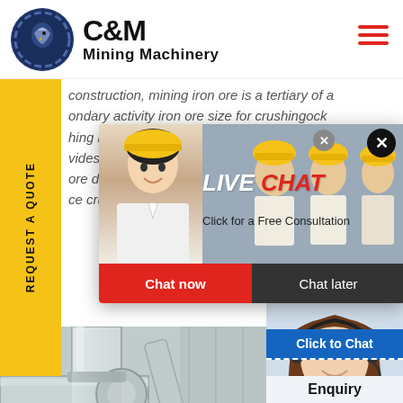[Figure (logo): C&M Mining Machinery logo with dark blue circular eagle emblem and bold black text]
construction, mining iron ore is a tertiary of a ondary activity iron ore size for crushingock hing machines for iron ore extraction mining vides ec ore dre ce crush
[Figure (infographic): Live Chat popup overlay with workers in hard hats, red LIVE CHAT heading, Click for a Free Consultation text, Chat now (red) and Chat later (dark) buttons]
[Figure (infographic): Hours and Online panel in blue and red on the right side]
REQUEST A QUOTE
[Figure (photo): Industrial mining equipment / pipe machinery in grey tones]
[Figure (photo): Woman with headset / customer service representative]
Click to Chat
Enquiry